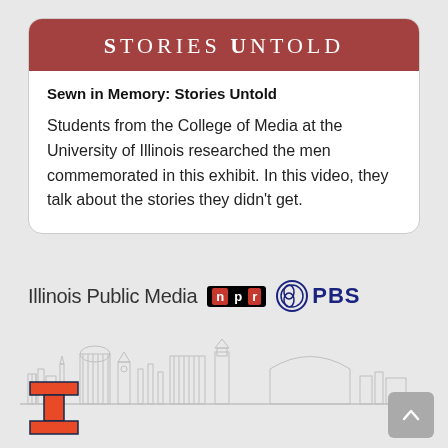Stories Untold
Sewn in Memory: Stories Untold
Students from the College of Media at the University of Illinois researched the men commemorated in this exhibit.  In this video, they talk about the stories they didn't get.
[Figure (logo): Illinois Public Media NPR PBS logos with University of Illinois campus skyline illustration and block I logo]
[Figure (logo): University of Illinois block I logo in orange]